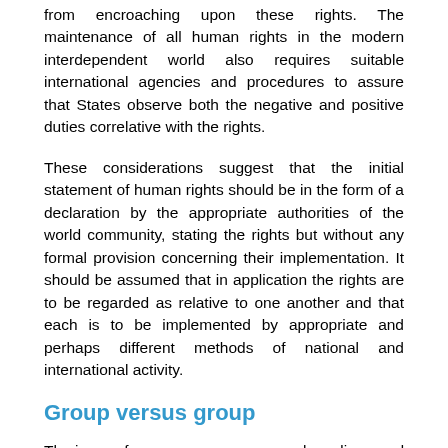from encroaching upon these rights. The maintenance of all human rights in the modern interdependent world also requires suitable international agencies and procedures to assure that States observe both the negative and positive duties correlative with the rights.
These considerations suggest that the initial statement of human rights should be in the form of a declaration by the appropriate authorities of the world community, stating the rights but without any formal provision concerning their implementation. It should be assumed that in application the rights are to be regarded as relative to one another and that each is to be implemented by appropriate and perhaps different methods of national and international activity.
Group versus group
The issue of group versus group was less discussed in the meeting of the Commission on Human Rights than was the issue of individual versus group, but this potential conflict underlay the discussion as indicated by a statement of Mr Mora of Uruguay:
“The traditional bills of rights have a national character. It seems to me that in the twentieth century we must emphasize the international human rights, the international rights of the